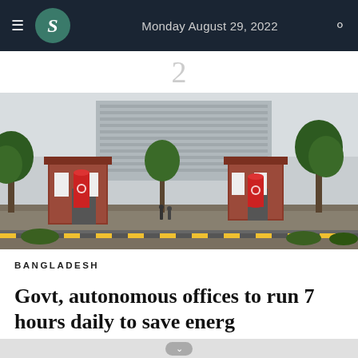Monday August 29, 2022
2
[Figure (photo): Exterior view of a government or institutional building complex — red-brick entrance gate structure in the foreground with a large multi-story concrete office building behind it, surrounded by trees. Red cylindrical banners/decorations near the gate entrance.]
BANGLADESH
Govt, autonomous offices to run 7 hours daily to save energ